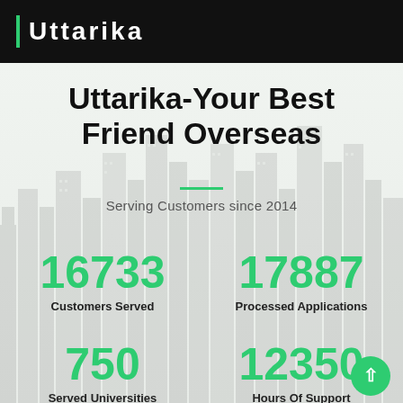Uttarika
Uttarika-Your Best Friend Overseas
Serving Customers since 2014
16733
Customers Served
17887
Processed Applications
750
Served Universities
12350
Hours Of Support